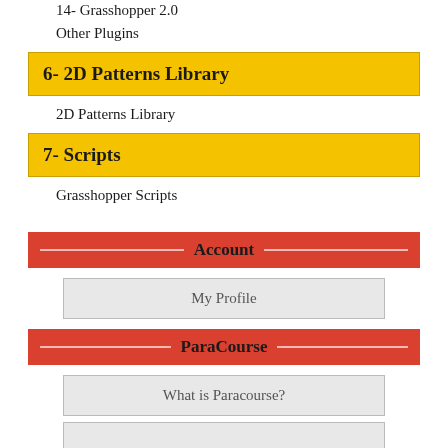14- Grasshopper 2.0
Other Plugins
6- 2D Patterns Library
2D Patterns Library
7- Scripts
Grasshopper Scripts
Account
My Profile
ParaCourse
What is Paracourse?